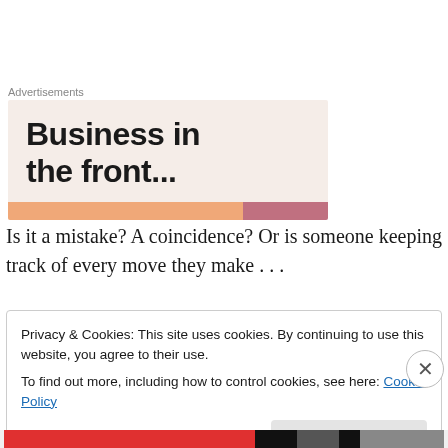Advertisements
[Figure (illustration): Advertisement banner with bold text 'Business in the front...' on a light pink/beige background with a coral and mauve striped bar at the bottom.]
Is it a mistake? A coincidence? Or is someone keeping track of every move they make . . .
Privacy & Cookies: This site uses cookies. By continuing to use this website, you agree to their use.
To find out more, including how to control cookies, see here: Cookie Policy
Close and accept